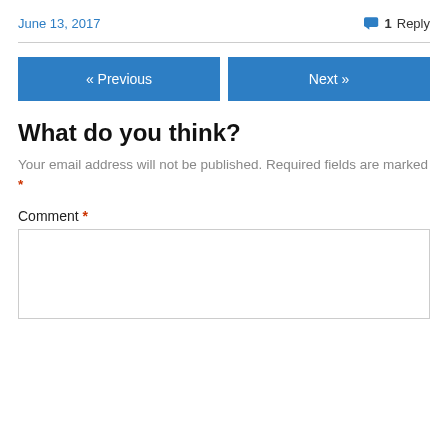June 13, 2017
1 Reply
« Previous
Next »
What do you think?
Your email address will not be published. Required fields are marked *
Comment *